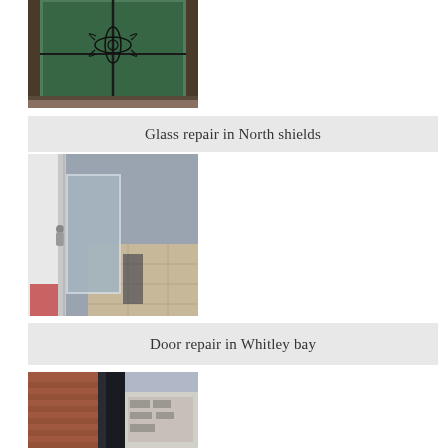[Figure (photo): Stained glass panel with green tint and decorative floral/dragonfly lead pattern, photographed in a room with brown flooring]
Glass repair in North shields
[Figure (photo): Interior door frame close-up showing white door edge and frosted glass panel, with tiled floor and items visible in background]
Door repair in Whitley bay
[Figure (photo): Exterior building facade showing brick wall and dark-framed window or door, street scene with shopfront visible]